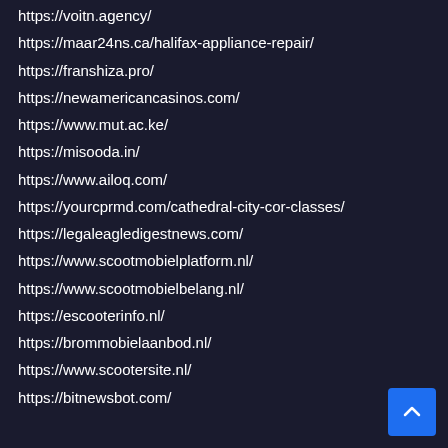https://voitn.agency/
https://maar24ns.ca/halifax-appliance-repair/
https://franshiza.pro/
https://newamericancasinos.com/
https://www.mut.ac.ke/
https://misooda.in/
https://www.ailoq.com/
https://yourcprmd.com/cathedral-city-cor-classes/
https://legaleagledigestnews.com/
https://www.scootmobielplatform.nl/
https://www.scootmobielbelang.nl/
https://escooterinfo.nl/
https://brommobielaanbod.nl/
https://www.scootersite.nl/
https://bitnewsbot.com/